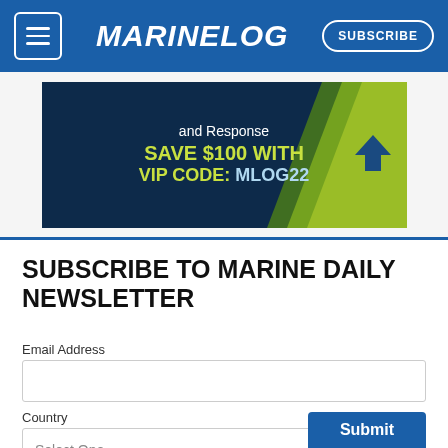MARINELOG — SUBSCRIBE
[Figure (infographic): Advertisement banner with dark blue background and yellow-green accent: 'and Response / SAVE $100 WITH / VIP CODE: MLOG22']
SUBSCRIBE TO MARINE DAILY NEWSLETTER
Email Address
Country
Select One
Submit